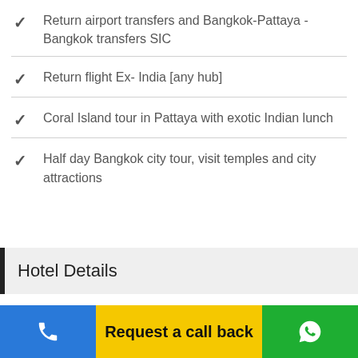Return airport transfers and Bangkok-Pattaya - Bangkok transfers SIC
Return flight Ex- India [any hub]
Coral Island tour in Pattaya with exotic Indian lunch
Half day Bangkok city tour, visit temples and city attractions
Hotel Details
Request a call back